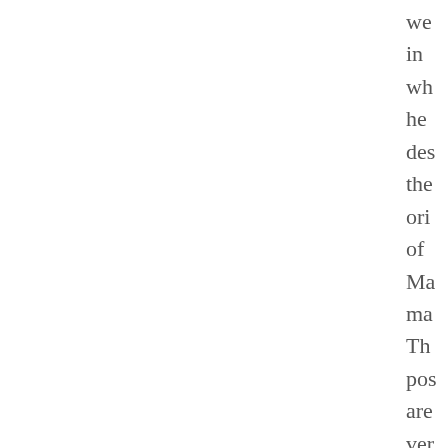we
in
wh
he
des
the
ori
of
Ma
ma
Th
pos
are
ver
ent
and
inc
lot
of